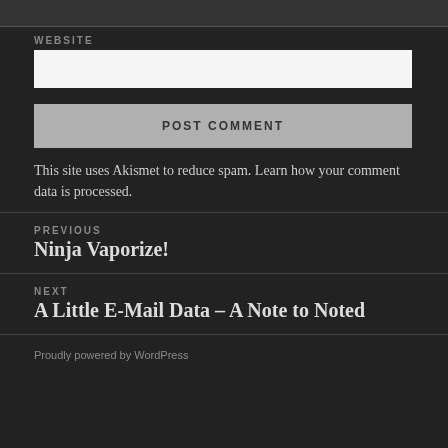WEBSITE
This site uses Akismet to reduce spam. Learn how your comment data is processed.
PREVIOUS
Ninja Vaporize!
NEXT
A Little E-Mail Data – A Note to Noted
Proudly powered by WordPress